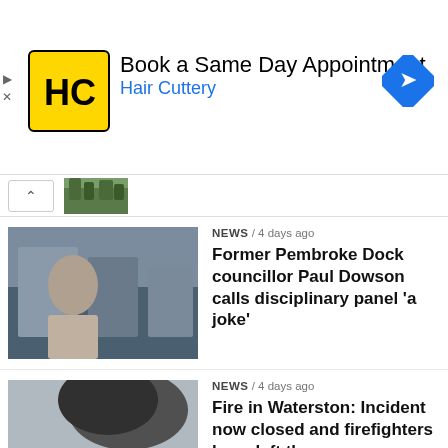[Figure (infographic): Hair Cuttery advertisement banner with yellow HC logo square, text 'Book a Same Day Appointment' and 'Hair Cuttery' in blue, and a blue diamond direction arrow icon on the right. Ad controls (play/close) on far left.]
[Figure (photo): Collapsed news item thumbnail showing green trees/outdoor scene]
[Figure (photo): Man standing outdoors near water with buildings in background]
NEWS / 4 days ago
Former Pembroke Dock councillor Paul Dowson calls disciplinary panel ‘a joke’
[Figure (photo): Fire scene with black smoke, fire trucks and emergency vehicles]
NEWS / 4 days ago
Fire in Waterston: Incident now closed and firefighters have left the scene
[Figure (photo): Coastguard helicopter flying low over water/beach]
NEWS / 4 days ago
Child’s life saved by RNLI and Coastguard joint-operation after kayaks capsized
[Figure (photo): Partially visible outdoor scene]
NEWS / 5 days ago
Lily Sullivan’s murder motivated by